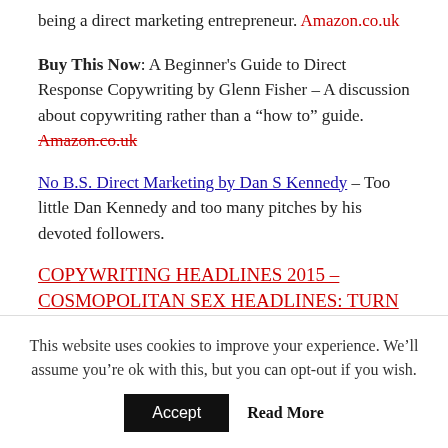being a direct marketing entrepreneur. Amazon.co.uk
Buy This Now: A Beginner's Guide to Direct Response Copywriting by Glenn Fisher – A discussion about copywriting rather than a "how to" guide. Amazon.co.uk
No B.S. Direct Marketing by Dan S Kennedy – Too little Dan Kennedy and too many pitches by his devoted followers.
COPYWRITING HEADLINES 2015 – COSMOPOLITAN SEX HEADLINES: TURN YOUR ADVERTISEMENT INTO
This website uses cookies to improve your experience. We'll assume you're ok with this, but you can opt-out if you wish.
Accept  Read More